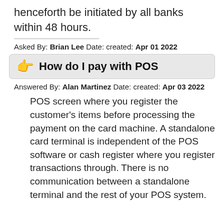henceforth be initiated by all banks within 48 hours.
Asked By: Brian Lee Date: created: Apr 01 2022
How do I pay with POS
Answered By: Alan Martinez Date: created: Apr 03 2022
POS screen where you register the customer’s items before processing the payment on the card machine. A standalone card terminal is independent of the POS software or cash register where you register transactions through. There is no communication between a standalone terminal and the rest of your POS system.